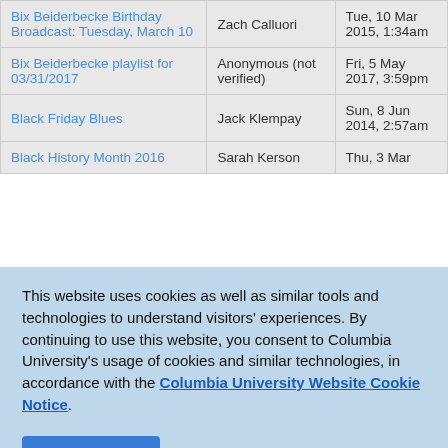| Bix Beiderbecke Birthday Broadcast: Tuesday, March 10 | Zach Calluori | Tue, 10 Mar 2015, 1:34am |
| Bix Beiderbecke playlist for 03/31/2017 | Anonymous (not verified) | Fri, 5 May 2017, 3:59pm |
| Black Friday Blues | Jack Klempay | Sun, 8 Jun 2014, 2:57am |
| Black History Month 2016 | Sarah Kerson | Thu, 3 Mar |
This website uses cookies as well as similar tools and technologies to understand visitors' experiences. By continuing to use this website, you consent to Columbia University's usage of cookies and similar technologies, in accordance with the Columbia University Website Cookie Notice.